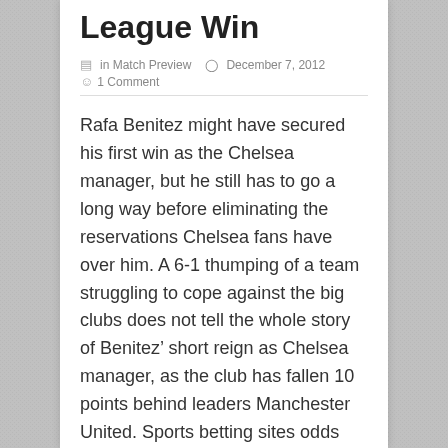League Win
in Match Preview   December 7, 2012
1 Comment
Rafa Benitez might have secured his first win as the Chelsea manager, but he still has to go a long way before eliminating the reservations Chelsea fans have over him. A 6-1 thumping of a team struggling to cope against the big clubs does not tell the whole story of Benitez’ short reign as Chelsea manager, as the club has fallen 10 points behind leaders Manchester United. Sports betting sites odds suggest that Chelsea are unlikely to win the title this time as well.
It is incredible considering that Chelsea